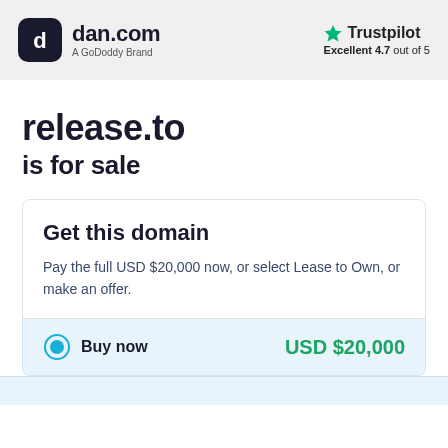dan.com — A GoDoddy Brand | Trustpilot Excellent 4.7 out of 5
release.to is for sale
Get this domain
Pay the full USD $20,000 now, or select Lease to Own, or make an offer.
Buy now — USD $20,000